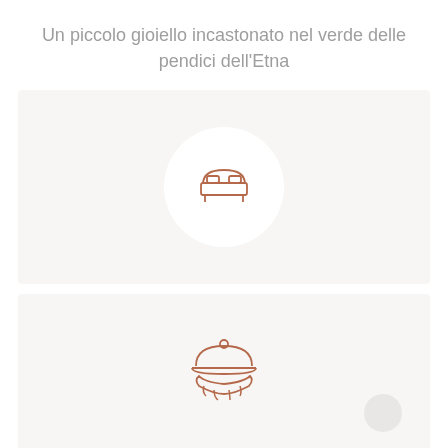Un piccolo gioiello incastonato nel verde delle pendici dell'Etna
[Figure (illustration): Gray card with a white circle containing a bed icon in terracotta/copper color]
[Figure (illustration): Gray card with a room service/cloche hand icon in terracotta/copper color and a small gray circle in the bottom right]